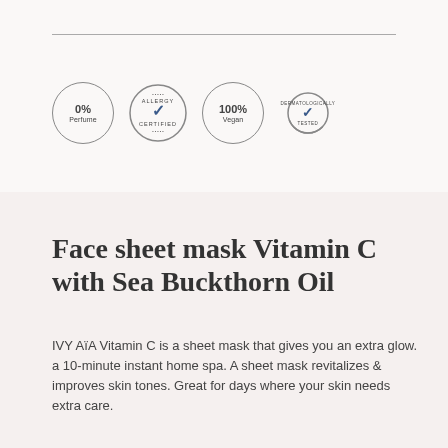[Figure (other): Four product certification badges in a row: 0% Perfume, Allergy Certified (checkmark), 100% Vegan, and Dermatologically Tested (checkmark with arc)]
Face sheet mask Vitamin C with Sea Buckthorn Oil
IVY AïA Vitamin C is a sheet mask that gives you an extra glow. a 10-minute instant home spa. A sheet mask revitalizes & improves skin tones. Great for days where your skin needs extra care.